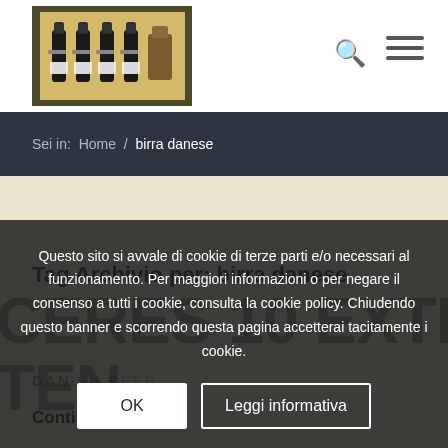[Figure (logo): Website logo showing beer bottles on a yellow background inside a dark olive frame]
Search icon and hamburger menu icon
Sei in:  Home  /  birra danese
Tag Archivio per: birra danese
CERES 10 EXTREME TEN
DANISH BEER
Continua a
Questo sito si avvale di cookie di terze parti e/o necessari al funzionamento. Per maggiori informazioni o per negare il consenso a tutti i cookie, consulta la cookie policy. Chiudendo questo banner e scorrendo questa pagina accetterai tacitamente i cookie.
OK
Leggi informativa